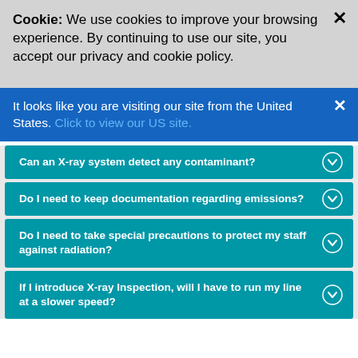Cookie: We use cookies to improve your browsing experience. By continuing to use our site, you accept our privacy and cookie policy.
It looks like you are visiting our site from the United States. Click to view our US site.
Can an X-ray system detect any contaminant?
Do I need to keep documentation regarding emissions?
Do I need to take special precautions to protect my staff against radiation?
If I introduce X-ray Inspection, will I have to run my line at a slower speed?